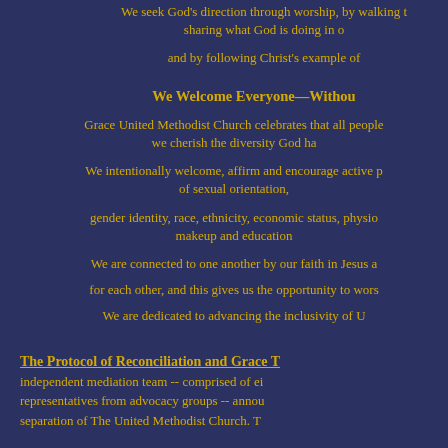We seek God's direction through worship, by walking t... sharing what God is doing in o...
and by following Christ's example of ...
We Welcome Everyone—Withou...
Grace United Methodist Church celebrates that all people... we cherish the diversity God ha...
We intentionally welcome, affirm and encourage active p... of sexual orientation,
gender identity, race, ethnicity, economic status, physio... makeup and education...
We are connected to one another by our faith in Jesus a...
for each other, and this gives us the opportunity to wors...
We are dedicated to advancing the inclusivity of U...
The Protocol of Reconciliation and Grace T...
independent mediation team -- comprised of ei... representatives from advocacy groups -- annou... separation of The United Methodist Church. T...